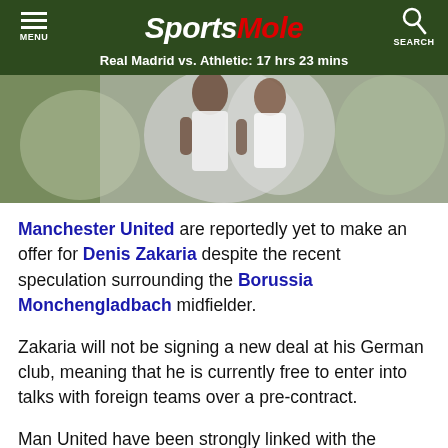Sports Mole — Real Madrid vs. Athletic: 17 hrs 23 mins
[Figure (photo): Photo of a football player in white kit, blurred background]
Manchester United are reportedly yet to make an offer for Denis Zakaria despite the recent speculation surrounding the Borussia Monchengladbach midfielder.
Zakaria will not be signing a new deal at his German club, meaning that he is currently free to enter into talks with foreign teams over a pre-contract.
Man United have been strongly linked with the Switzerland international amid suggestions that he could be allowed to leave Monchengladbach in a cut-price deal during the January transfer window.